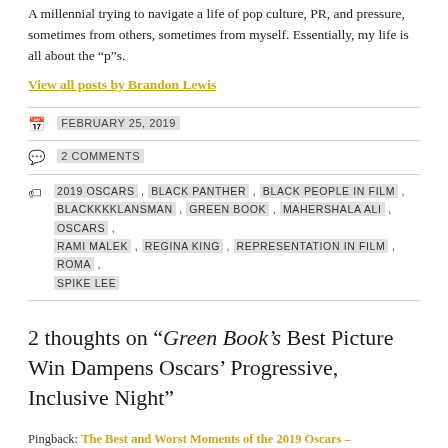A millennial trying to navigate a life of pop culture, PR, and pressure, sometimes from others, sometimes from myself. Essentially, my life is all about the "p"s.
View all posts by Brandon Lewis
FEBRUARY 25, 2019
2 COMMENTS
2019 OSCARS, BLACK PANTHER, BLACK PEOPLE IN FILM, BLACKKKKLANSMAN, GREEN BOOK, MAHERSHALA ALI, OSCARS, RAMI MALEK, REGINA KING, REPRESENTATION IN FILM, ROMA, SPIKE LEE
2 thoughts on “Green Book’s Best Picture Win Dampens Oscars’ Progressive, Inclusive Night”
Pingback: The Best and Worst Moments of the 2019 Oscars –